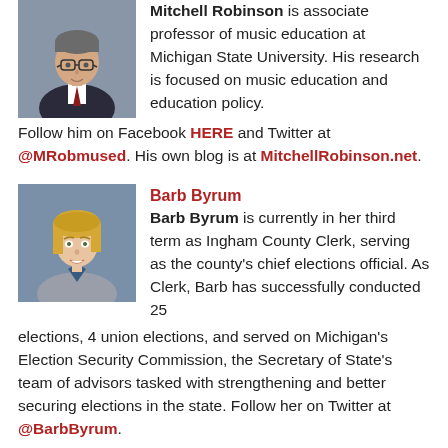[Figure (photo): Headshot photo of Mitchell Robinson, a man with glasses wearing a suit and tie]
Mitchell Robinson is associate professor of music education at Michigan State University. His research is focused on music education and education policy. Follow him on Facebook HERE and Twitter at @MRobmused. His own blog is at MitchellRobinson.net.
[Figure (photo): Headshot photo of Barb Byrum, a woman with blonde hair wearing a gray blazer]
Barb Byrum is currently in her third term as Ingham County Clerk, serving as the county's chief elections official. As Clerk, Barb has successfully conducted 25 elections, 4 union elections, and served on Michigan's Election Security Commission, the Secretary of State's team of advisors tasked with strengthening and better securing elections in the state. Follow her on Twitter at @BarbByrum.